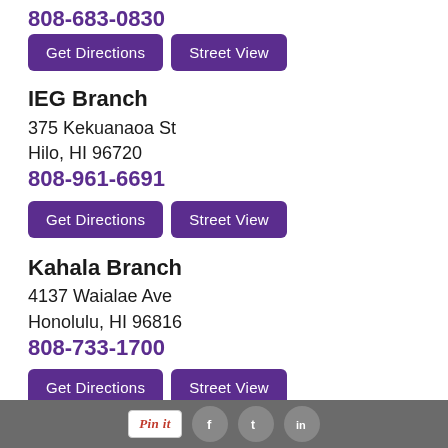808-683-0830
Get Directions | Street View
IEG Branch
375 Kekuanaoa St
Hilo, HI 96720
808-961-6691
Get Directions | Street View
Kahala Branch
4137 Waialae Ave
Honolulu, HI 96816
808-733-1700
Get Directions | Street View
Kahului Branch
285 W. Kaahumanu Ave.
#101A
Kahului, HI 96732
Pin it | f | t | in